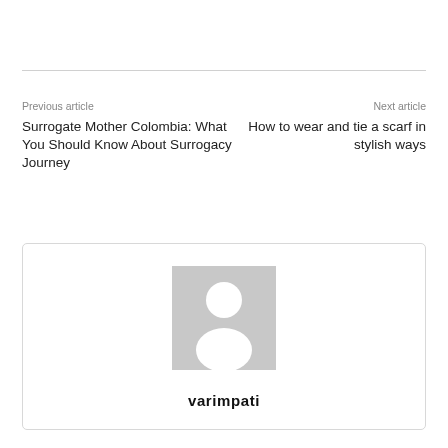Previous article
Next article
Surrogate Mother Colombia: What You Should Know About Surrogacy Journey
How to wear and tie a scarf in stylish ways
[Figure (illustration): Author avatar placeholder: grey square with white silhouette of a person]
varimpati